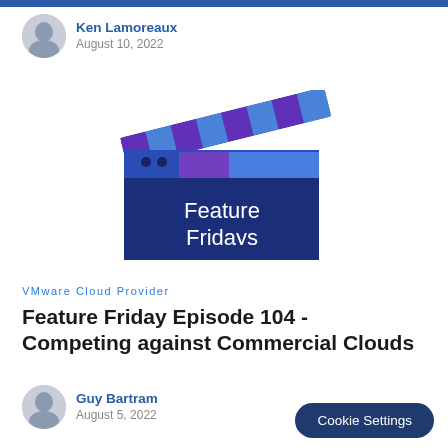Ken Lamoreaux
August 10, 2022
[Figure (illustration): Feature Fridays clapperboard logo with blue gradient colors and text 'Feature Fridays']
VMware Cloud Provider
Feature Friday Episode 104 - Competing against Commercial Clouds
Guy Bartram
August 5, 2022
Cookie Settings